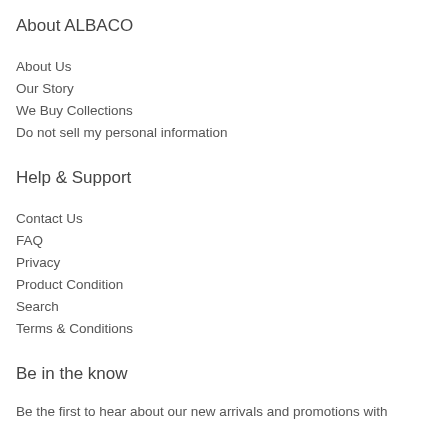About ALBACO
About Us
Our Story
We Buy Collections
Do not sell my personal information
Help & Support
Contact Us
FAQ
Privacy
Product Condition
Search
Terms & Conditions
Be in the know
Be the first to hear about our new arrivals and promotions with